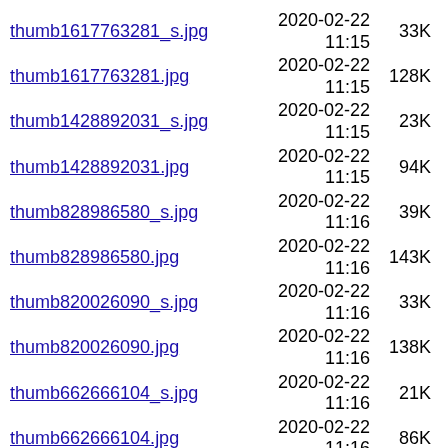thumb1617763281_s.jpg  2020-02-22 11:15  33K
thumb1617763281.jpg  2020-02-22 11:15  128K
thumb1428892031_s.jpg  2020-02-22 11:15  23K
thumb1428892031.jpg  2020-02-22 11:15  94K
thumb828986580_s.jpg  2020-02-22 11:16  39K
thumb828986580.jpg  2020-02-22 11:16  143K
thumb820026090_s.jpg  2020-02-22 11:16  33K
thumb820026090.jpg  2020-02-22 11:16  138K
thumb662666104_s.jpg  2020-02-22 11:16  21K
thumb662666104.jpg  2020-02-22 11:16  86K
thumb577422471_s.jpg  2020-02-22 11:16  28K